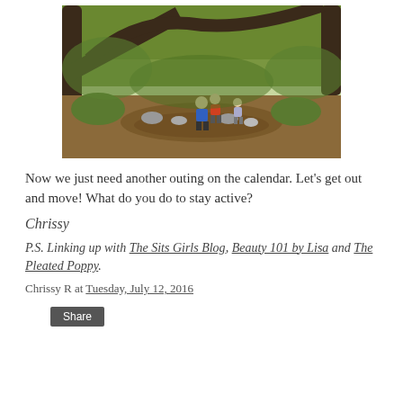[Figure (photo): Children playing in a creek in a wooded forest area, with trees arching overhead and rocky ground.]
Now we just need another outing on the calendar. Let's get out and move! What do you do to stay active?
Chrissy
P.S. Linking up with The Sits Girls Blog, Beauty 101 by Lisa and The Pleated Poppy.
Chrissy R at Tuesday, July 12, 2016